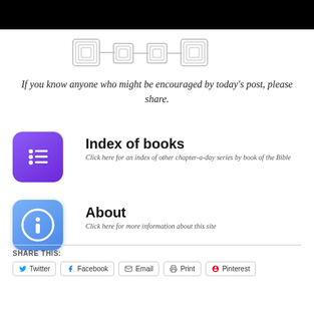[Figure (illustration): Black header bar at the top of the page]
[Figure (illustration): Decorative ornamental divider with geometric Celtic-style knots connected by horizontal lines]
If you know anyone who might be encouraged by today's post, please share.
[Figure (illustration): Purple rounded square icon with bullet list/menu symbol in white]
Index of books
Click here for an index of other chapter-a-day series by book of the Bible
[Figure (illustration): Blue rounded square icon with white circle info (i) symbol]
About
Click here for more information about this site
SHARE THIS:
Twitter  Facebook  Email  Print  Pinterest